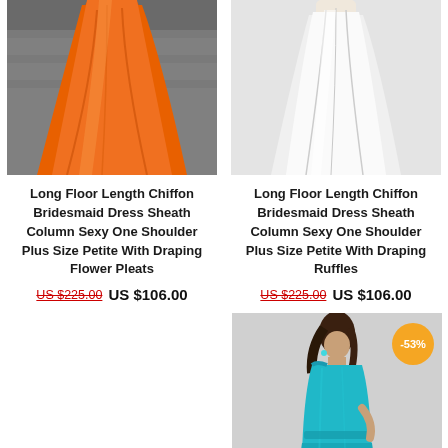[Figure (photo): Orange chiffon floor-length bridesmaid dress on model, shown from waist down]
Long Floor Length Chiffon Bridesmaid Dress Sheath Column Sexy One Shoulder Plus Size Petite With Draping Flower Pleats
US $225.00  US $106.00
[Figure (photo): White chiffon floor-length bridesmaid dress on model, shown from waist down]
Long Floor Length Chiffon Bridesmaid Dress Sheath Column Sexy One Shoulder Plus Size Petite With Draping Ruffles
US $225.00  US $106.00
[Figure (photo): Teal/turquoise one-shoulder floor-length bridesmaid dress on smiling model with dark hair, -53% discount badge]